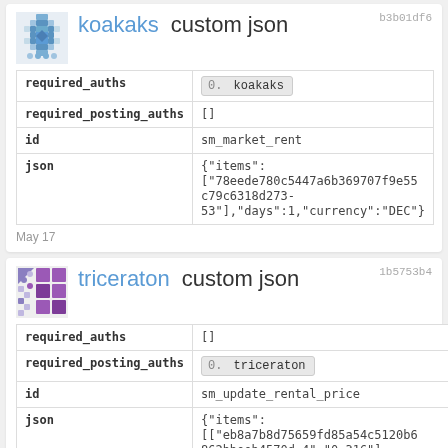b3b01df6
koakaks custom json
| field | value |
| --- | --- |
| required_auths | 0. koakaks |
| required_posting_auths | [] |
| id | sm_market_rent |
| json | {"items": ["78eede780c5447a6b369707f9e55c79c6318d273-53"],"days":1,"currency":"DEC"} |
May 17
1b5753b4
triceraton custom json
| field | value |
| --- | --- |
| required_auths | [] |
| required_posting_auths | 0. triceraton |
| id | sm_update_rental_price |
| json | {"items": [["eb8a7b8d75659fd85a54c5120b6862bbeeb4570d-4","0.316"], ["516121c29448be5c7173a814288e5d2cac4ab0a2-2","0.316"], ["c6c4be3212abb99dbc7e84f857e1e3fc0fa56360-1","1.542"]],"app":"Splinterlands.Re |